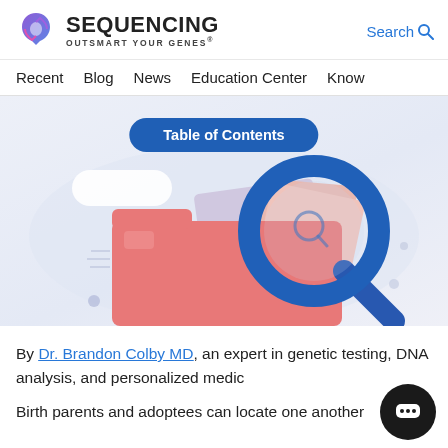SEQUENCING OUTSMART YOUR GENES® | Search
Recent | Blog | News | Education Center | Know
[Figure (illustration): Illustration of a file folder with documents and a magnifying glass on a light blue/lavender background, with a 'Table of Contents' button overlaid at top center]
By Dr. Brandon Colby MD, an expert in genetic testing, DNA analysis, and personalized medic
Birth parents and adoptees can locate one another